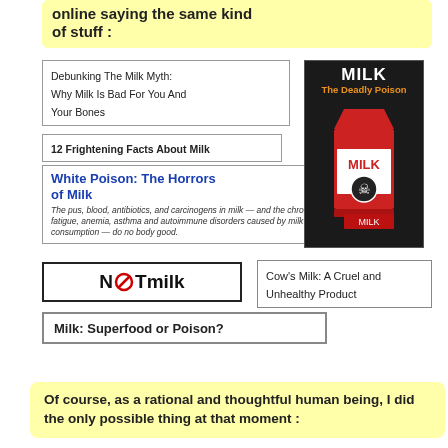online saying the same kind of stuff :
[Figure (infographic): Collection of anti-milk article headline snippets and a 'Milk The Deadly Poison' book/image cover, plus NoTmilk logo, Cow's Milk: A Cruel and Unhealthy Product box, Milk: Superfood or Poison? box]
Of course, as a rational and thoughtful human being, I did the only possible thing at that moment :
[Figure (illustration): The word PANIC in large red distressed letters with cartoon characters panicking]